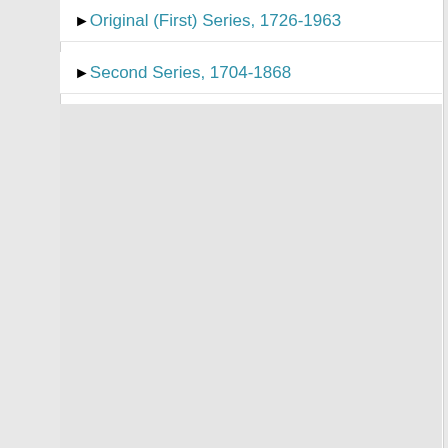Original (First) Series, 1726-1963
Second Series, 1704-1868